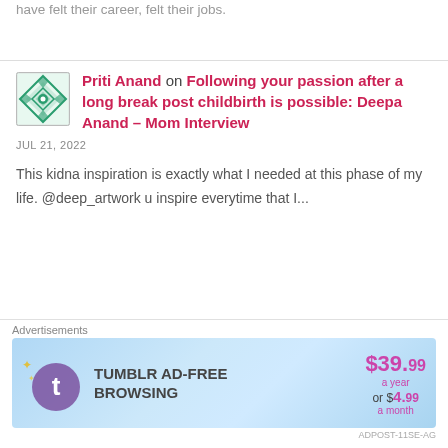have felt their career, felt their jobs.
Priti Anand on Following your passion after a long break post childbirth is possible: Deepa Anand – Mom Interview
JUL 21, 2022
This kidna inspiration is exactly what I needed at this phase of my life. @deep_artwork u inspire everytime that I...
Khyati on Following your passion after a lon…
[Figure (screenshot): Tumblr Ad-Free Browsing advertisement banner showing $39.99 a year or $4.99 a month]